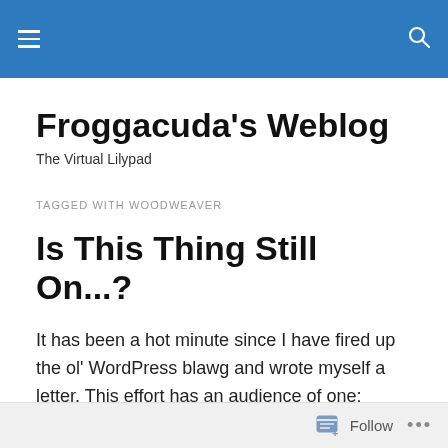Froggacuda's Weblog — navigation bar
Froggacuda's Weblog
The Virtual Lilypad
TAGGED WITH WOODWEAVER
Is This Thing Still On...?
It has been a hot minute since I have fired up the ol' WordPress blawg and wrote myself a letter. This effort has an audience of one: myself, and once you accept that, it gets easier. In this feed- and filter-driven 24 hour news
Follow